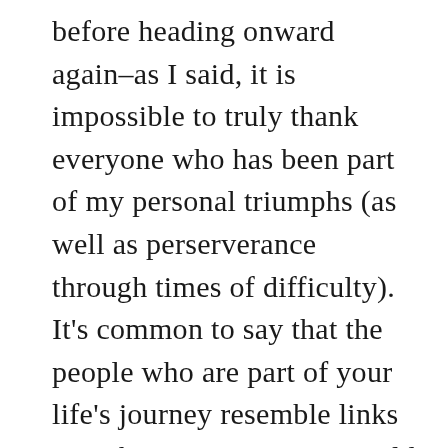before heading onward again–as I said, it is impossible to truly thank everyone who has been part of my personal triumphs (as well as perserverance through times of difficulty).  It's common to say that the people who are part of your life's journey resemble links in a chain.  However, I would offer that from my experience during childhood through to the present tells the story of family, friends,